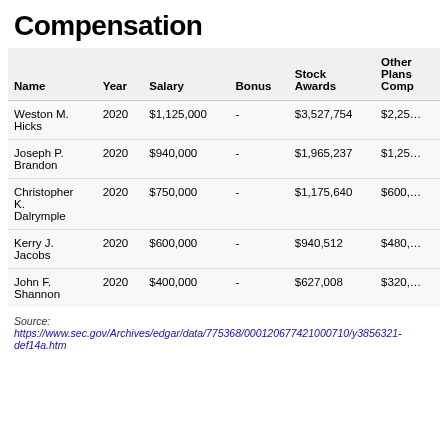Compensation
| Name | Year | Salary | Bonus | Stock Awards | Other Plans Comp |
| --- | --- | --- | --- | --- | --- |
| Weston M. Hicks | 2020 | $1,125,000 | - | $3,527,754 | $2,25… |
| Joseph P. Brandon | 2020 | $940,000 | - | $1,965,237 | $1,25… |
| Christopher K. Dalrymple | 2020 | $750,000 | - | $1,175,640 | $600,… |
| Kerry J. Jacobs | 2020 | $600,000 | - | $940,512 | $480,… |
| John F. Shannon | 2020 | $400,000 | - | $627,008 | $320,… |
Source: https://www.sec.gov/Archives/edgar/data/775368/000120677421000710/y3856321-def14a.htm